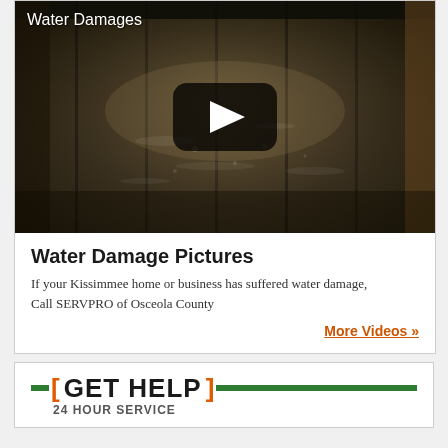[Figure (screenshot): Video thumbnail showing water-damaged flooded floor with play button overlay and title 'Water Damages']
Water Damage Pictures
If your Kissimmee home or business has suffered water damage, Call SERVPRO of Osceola County
More Videos »
[ GET HELP ] 24 HOUR SERVICE